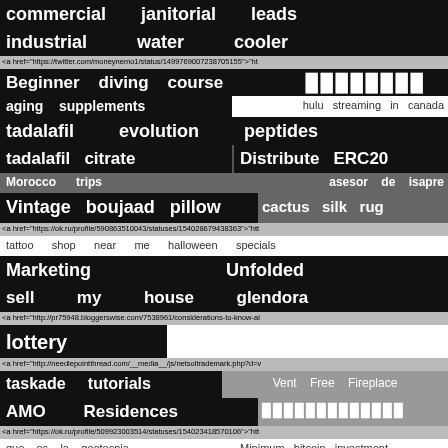commercial janitorial leads
industrial water cooler
<a href="https://twitter.com/moneynemo1/status/1499769007238705155">"ht
Beginner diving course [blocks]
aging supplements hulu streaming in canada
tadalafil evolution peptides
tadalafil citrate Distribute ERC20
Morocco trips asesor de isapre
Vintage boujaad pillow cactus silk rug
<a href="https://ok.ru/profile/590863510043/statuses/154028679438363">"htt
tattoo shop near me halloween specials
Marketing Unfolded
sell my house glendora
<a href="http://pr75948.bloggerswise.com/7538961/considerations-to-know-al
lottery
<a href="http://needlepointthread.com/__media__/js/netsoltrademark.php?d=v
taskade tutorials Vent Free Fireplace
AMO Residences [blocks]
<a href="https://ok.ru/profile/509923003514/statuses/154023418570106">"htt
que es la geotecnia Minimum bitcoin investment